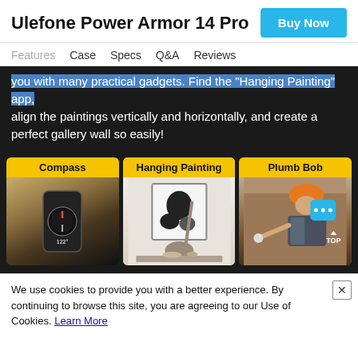Ulefone Power Armor 14 Pro
Buy Now
Features  Case  Specs  Q&A  Reviews
you with many practical gadgets. Find the "Hanging Painting" app, align the paintings vertically and horizontally, and create a perfect gallery wall so easily!
[Figure (photo): Three tool cards side by side on dark background: Compass (hand holding phone with compass app in desert), Hanging Painting (woman hanging abstract painting on wall), Plumb Bob (construction worker in orange helmet)]
We use cookies to provide you with a better experience. By continuing to browse this site, you are agreeing to our Use of Cookies. Learn More